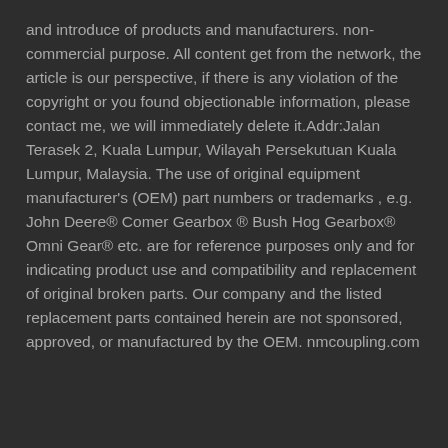and introduce of products and manufacturers. non-commercial purpose. All content get from the network, the article is our perspective, if there is any violation of the copyright or you found objectionable information, please contact me, we will immediately delete it.Addr:Jalan Terasek 2, Kuala Lumpur, Wilayah Persekutuan Kuala Lumpur, Malaysia. The use of original equipment manufacturer's (OEM) part numbers or trademarks , e.g. John Deere® Comer Gearbox ® Bush Hog Gearbox® Omni Gear® etc. are for reference purposes only and for indicating product use and compatibility and replacement of original broken parts. Our company and the listed replacement parts contained herein are not sponsored, approved, or manufactured by the OEM. nmcoupling.com